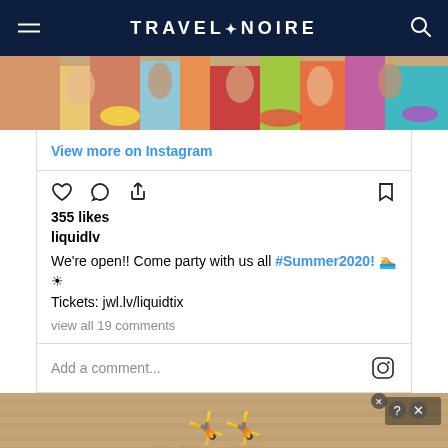TRAVEL+NOIRE
[Figure (photo): Pool party photo showing people in swimwear with colorful floaties in a pool]
View more on Instagram
355 likes
liquidlv
We're open!! Come party with us all #Summer2020! 🏊☀ Tickets: jwl.lv/liquidtix
view all 19 comments
Add a comment...
[Figure (infographic): Ad banner showing two blue stick figures and text 'Hold and Move' with close buttons]